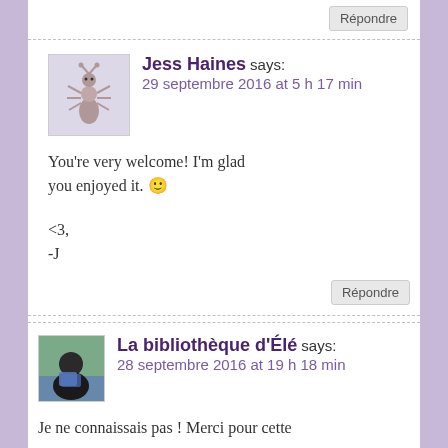Répondre
Jess Haines says:
29 septembre 2016 at 5 h 17 min
You're very welcome! I'm glad you enjoyed it. 🙂

<3,
-J
Répondre
La bibliothèque d'Élé says:
28 septembre 2016 at 19 h 18 min
Je ne connaissais pas ! Merci pour cette